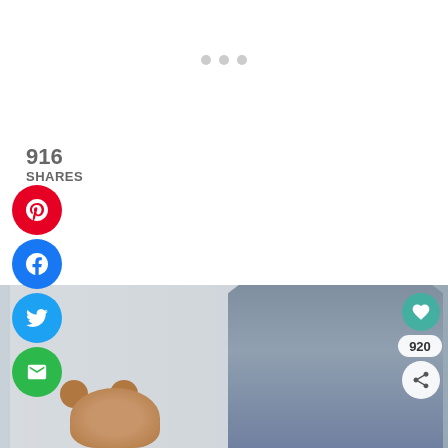[Figure (infographic): Social sharing sidebar with share count (916 SHARES) and social media buttons: Pinterest (red), Facebook (blue), Twitter (light blue), Email (green). Three gray dots visible at top center, possibly a carousel indicator.]
916
SHARES
[Figure (photo): Photo of a blue-gray high chair and a brown teddy bear on the floor next to it, against a light wall. Overlaid with a teal heart button, a '920' count badge, and a share icon button.]